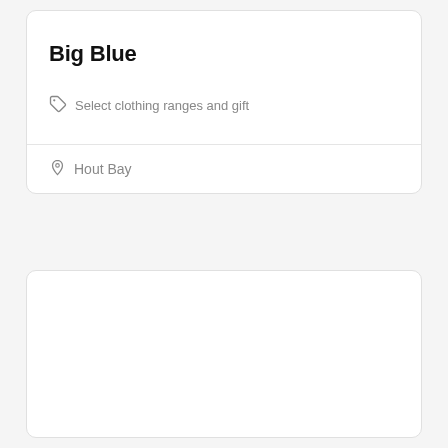Big Blue
Select clothing ranges and gift
Hout Bay